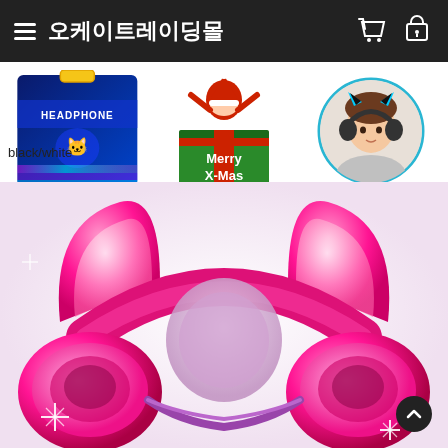오케이트레이딩몰
[Figure (photo): Three product images: a cat headphone box (blue, with HEADPHONE label), a Santa Claus Merry X-Mas Christmas gift illustration, and a girl wearing cat ear headphones (circular photo)]
black/white
[Figure (photo): Large main product photo: bright pink/hot pink cat ear headphones with glowing LED ears and sparkling light effects]